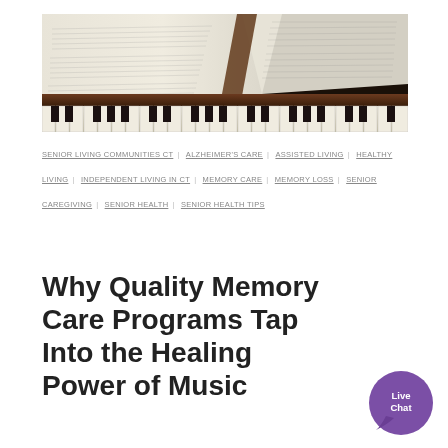[Figure (photo): Close-up photo of a piano keyboard with an open sheet music book resting on it, showing musical notation pages and the black and white keys of the piano.]
SENIOR LIVING COMMUNITIES CT | ALZHEIMER'S CARE | ASSISTED LIVING | HEALTHY LIVING | INDEPENDENT LIVING IN CT | MEMORY CARE | MEMORY LOSS | SENIOR CAREGIVING | SENIOR HEALTH | SENIOR HEALTH TIPS
Why Quality Memory Care Programs Tap Into the Healing Power of Music